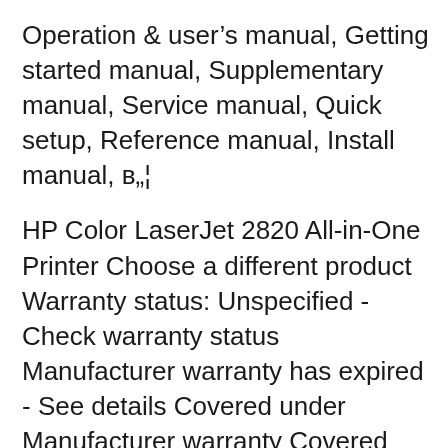Operation & user's manual, Getting started manual, Supplementary manual, Service manual, Quick setup, Reference manual, Install manual, в„¦
HP Color LaserJet 2820 All-in-One Printer Choose a different product Warranty status: Unspecified - Check warranty status Manufacturer warranty has expired - See details Covered under Manufacturer warranty Covered under Extended warranty , months remaining month remaining days remaining day remaining - See details HP Laserjet,Color Laserjet 2820 Manuals & User Guides. User Manuals, Guides and Specifications for your HP Laserjet,Color Laserjet 2820 All in One Printer.